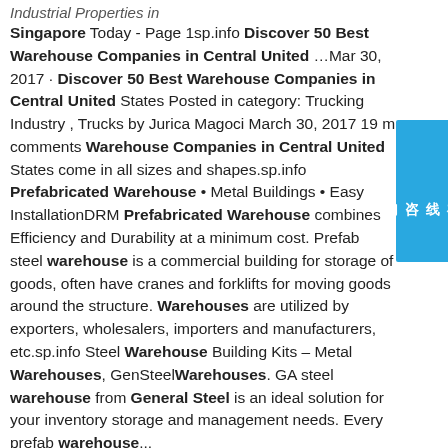Industrial Properties in
Singapore Today - Page 1sp.info Discover 50 Best Warehouse Companies in Central United …Mar 30, 2017 · Discover 50 Best Warehouse Companies in Central United States Posted in category: Trucking Industry , Trucks by Jurica Magoci March 30, 2017 19 m comments Warehouse Companies in Central United States come in all sizes and shapes.sp.info Prefabricated Warehouse • Metal Buildings • Easy InstallationDRM Prefabricated Warehouse combines Efficiency and Durability at a minimum cost. Prefab steel warehouse is a commercial building for storage of goods, often have cranes and forklifts for moving goods around the structure. Warehouses are utilized by exporters, wholesalers, importers and manufacturers, etc.sp.info Steel Warehouse Building Kits – Metal Warehouses, GenSteelWarehouses. GA steel warehouse from General Steel is an ideal solution for your inventory storage and management needs. Every prefab warehouse...